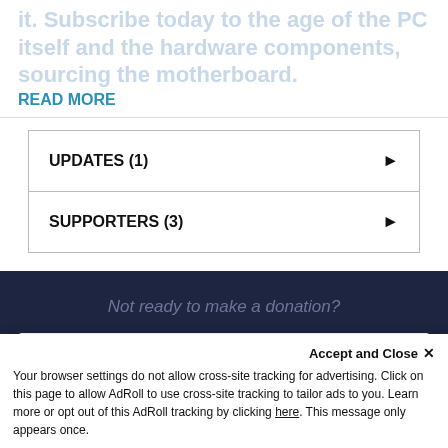it. Subscribe today to the age of the PC itself and the hardware components, sourcing the motherboard.
READ MORE
UPDATES (1)
SUPPORTERS (3)
Not ready to make a donation?
SUPPORT JONATHAN
Accept and Close ✕
Your browser settings do not allow cross-site tracking for advertising. Click on this page to allow AdRoll to use cross-site tracking to tailor ads to you. Learn more or opt out of this AdRoll tracking by clicking here. This message only appears once.